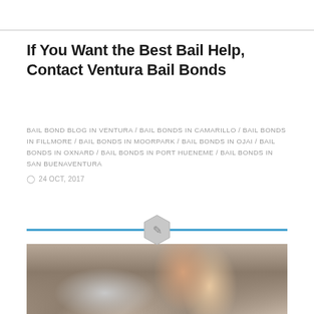If You Want the Best Bail Help, Contact Ventura Bail Bonds
BAIL BOND BLOG IN VENTURA / BAIL BONDS IN CAMARILLO / BAIL BONDS IN FILLMORE / BAIL BONDS IN MOORPARK / BAIL BONDS IN OJAI / BAIL BONDS IN OXNARD / BAIL BONDS IN PORT HUENEME / BAIL BONDS IN SAN BUENAVENTURA
24 OCT, 2017
[Figure (photo): A smiling woman with dark hair talking on a phone while using a laptop, seated on a couch]